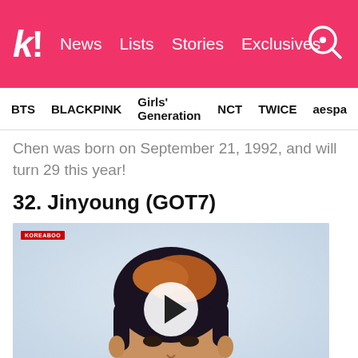k! News Lists Stories Exclusives
BTS BLACKPINK Girls' Generation NCT TWICE aespa
Chen was born on September 21, 1992, and will turn 29 this year!
32. Jinyoung (GOT7)
[Figure (photo): Photo of Jinyoung from GOT7 with dark hair highlighted orange at top, wearing dark clothing, light background. A circular play button overlay is centered on the image. A small red watermark/logo is in the top-left corner.]